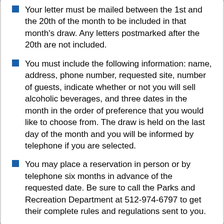Your letter must be mailed between the 1st and the 20th of the month to be included in that month's draw. Any letters postmarked after the 20th are not included.
You must include the following information: name, address, phone number, requested site, number of guests, indicate whether or not you will sell alcoholic beverages, and three dates in the month in the order of preference that you would like to choose from. The draw is held on the last day of the month and you will be informed by telephone if you are selected.
You may place a reservation in person or by telephone six months in advance of the requested date. Be sure to call the Parks and Recreation Department at 512-974-6797 to get their complete rules and regulations sent to you.